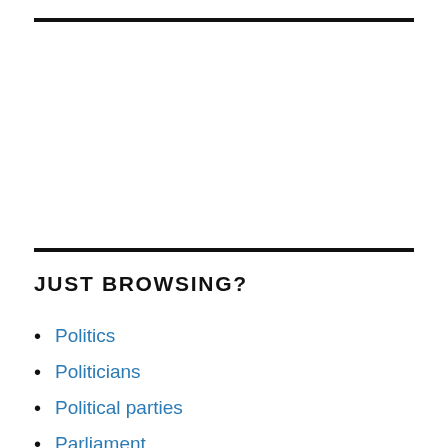JUST BROWSING?
Politics
Politicians
Political parties
Parliament
Women